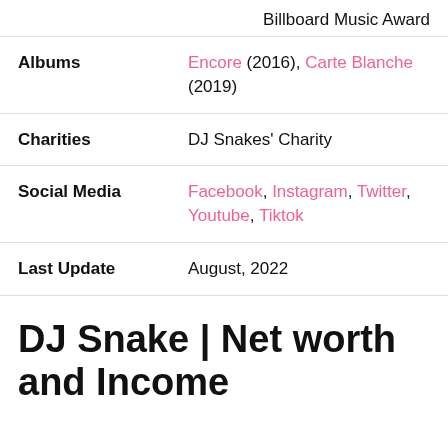|  | Billboard Music Award |
| --- | --- |
| Albums | Encore (2016), Carte Blanche (2019) |
| Charities | DJ Snakes' Charity |
| Social Media | Facebook, Instagram, Twitter, Youtube, Tiktok |
| Last Update | August, 2022 |
DJ Snake | Net worth and Income